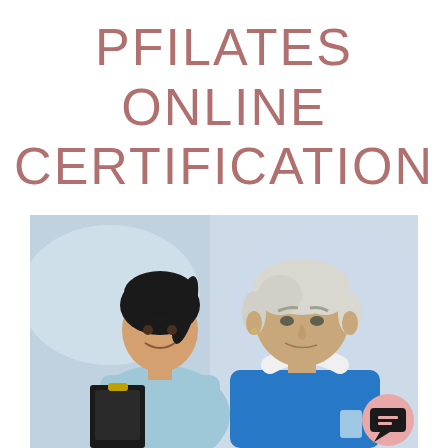PFILATES ONLINE CERTIFICATION
[Figure (photo): A smiling young female fitness instructor with dark hair in a ponytail, wearing a light blue tank top and holding a clipboard, standing next to an elderly man with white hair wearing a blue shirt with a white towel around his neck, in a gym/fitness setting]